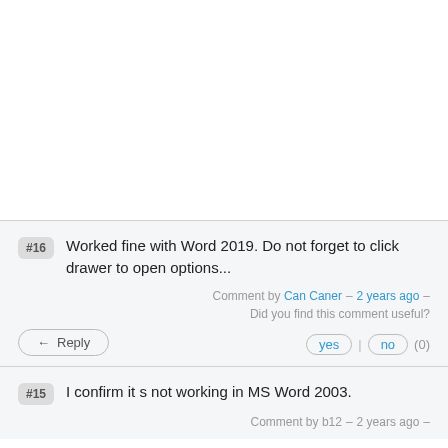#16 Worked fine with Word 2019. Do not forget to click drawer to open options...
Comment by Can Caner – 2 years ago – Did you find this comment useful?
Reply | yes | no (0)
#15 I confirm it s not working in MS Word 2003.
Comment by b12 – 2 years ago –